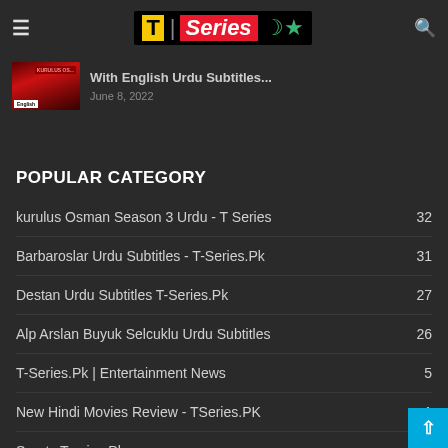T | Series (logo with moon icon)
[Figure (photo): Thumbnail image of Kurulus Osman show with English text overlay]
With English Urdu Subtitles...
June 8, 2022
POPULAR CATEGORY
kurulus Osman Season 3 Urdu - T Series  32
Barbaroslar Urdu Subtitles - T-Series.Pk  31
Destan Urdu Subtitles T-Series.Pk  27
Alp Arslan Buyuk Selcuklu Urdu Subtitles  26
T-Series.Pk | Entertainment News  5
New Hindi Movies Review - TSeries.PK  1
Sports Tseries.Pk  0
Box Office of Bollywood, Hollywood, Pakistan & More
Collection Report Tseries.PK